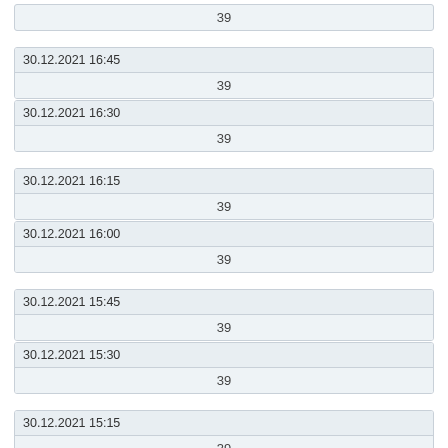| 39 |
| 30.12.2021 16:45 |
| --- |
| 39 |
| 30.12.2021 16:30 |
| 39 |
| 30.12.2021 16:15 |
| --- |
| 39 |
| 30.12.2021 16:00 |
| 39 |
| 30.12.2021 15:45 |
| --- |
| 39 |
| 30.12.2021 15:30 |
| 39 |
| 30.12.2021 15:15 |
| --- |
| 39 |